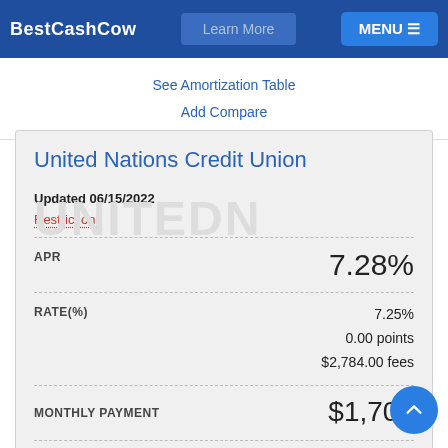BestCashCow   Learn More   MENU
See Amortization Table
Add Compare
United Nations Credit Union
Updated 06/15/2022
Restrictions
| Field | Value |
| --- | --- |
| APR | 7.28% |
| RATE(%) | 7.25%
0.00 points
$2,784.00 fees |
| MONTHLY PAYMENT | $1,705 |